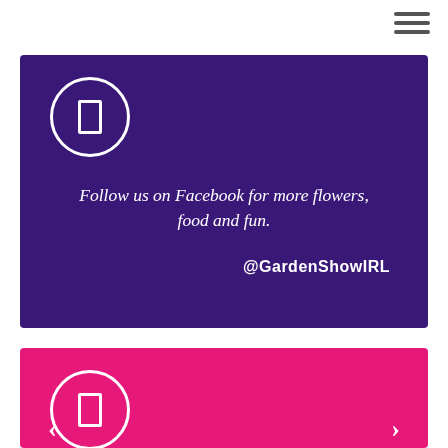[Figure (infographic): Purple box with Facebook icon (circle with rectangle inside), italic text 'Follow us on Facebook for more flowers, food and fun.' and handle '@GardenShowIRL']
[Figure (infographic): Pink/magenta box with Instagram icon (circle with rectangle inside), italic text 'We’d like to thank everyone for coming along to Garden Show Ireland at the' (text cuts off at bottom)]